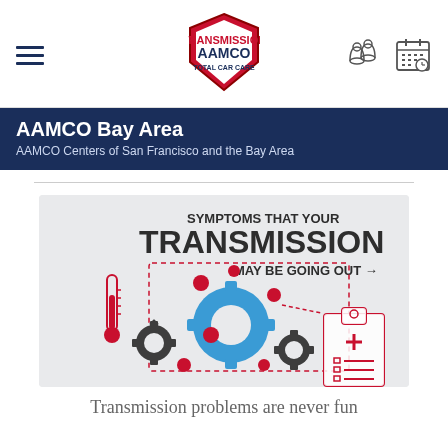AAMCO navigation bar with hamburger menu, AAMCO logo, location and schedule icons
AAMCO Bay Area
AAMCO Centers of San Francisco and the Bay Area
[Figure (infographic): Infographic titled 'SYMPTOMS THAT YOUR TRANSMISSION MAY BE GOING OUT' showing gears (dark and blue), a thermometer, pink/red dots connected by dashed lines to a medical clipboard with checklist.]
Transmission problems are never fun